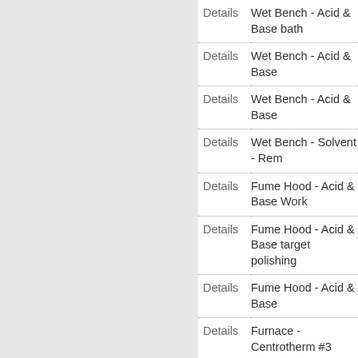|  |  |
| --- | --- |
| Details | Wet Bench - Acid & Base bath |
| Details | Wet Bench - Acid & Base |
| Details | Wet Bench - Acid & Base |
| Details | Wet Bench - Solvent - Rem |
| Details | Fume Hood - Acid & Base Work |
| Details | Fume Hood - Acid & Base target polishing |
| Details | Fume Hood - Acid & Base |
| Details | Furnace - Centrotherm #3 |
| Details | Furnace - Centrotherm #3 anneal |
| Details | Furnace - Centrotherm #3 anneal |
| Details | Furnace - Centrotherm #1 Oxidation (restricted) |
| Details | Furnace - Centrotherm #1 dry oxidation (public) |